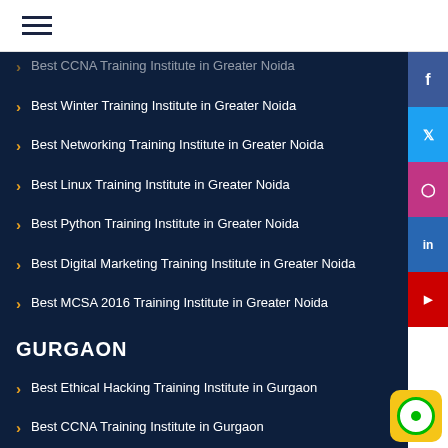Navigation menu header bar
Best CCNA Training Institute in Greater Noida
Best Winter Training Institute in Greater Noida
Best Networking Training Institute in Greater Noida
Best Linux Training Institute in Greater Noida
Best Python Training Institute in Greater Noida
Best Digital Marketing Training Institute in Greater Noida
Best MCSA 2016 Training Institute in Greater Noida
GURGAON
Best Ethical Hacking Training Institute in Gurgaon
Best CCNA Training Institute in Gurgaon